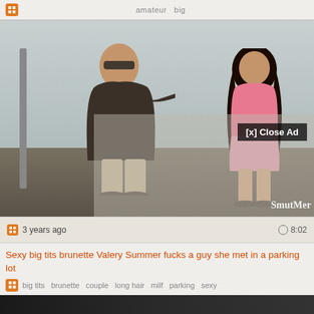amateur  big
[Figure (screenshot): Video player screenshot showing two people outdoors near a white wall. A man in a dark shirt with sunglasses pointing to the right, and a woman in a pink dress. Overlay panel on right side with '[x] Close Ad' button. SmutMer watermark visible bottom right.]
3 years ago  8:02
Sexy big tits brunette Valery Summer fucks a guy she met in a parking lot
big tits  brunette  couple  long hair  milf  parking  sexy
[Figure (screenshot): Thumbnail preview of next video, dark image]